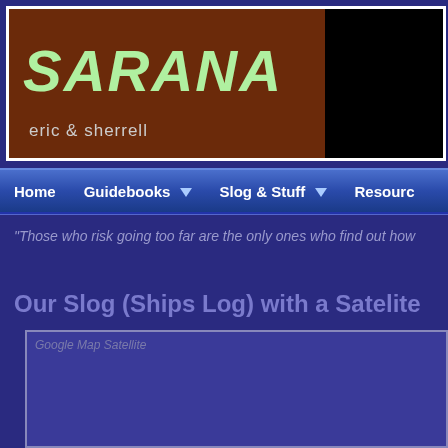[Figure (screenshot): Website header banner with brown background showing 'SARANA' in large green italic text and 'eric & sherrell' subtitle. Right portion is black.]
Home    Guidebooks ▼    Slog & Stuff ▼    Resources
"Those who risk going too far are the only ones who find out how
Our Slog (Ships Log) with a Satelite
Google Map Satellite